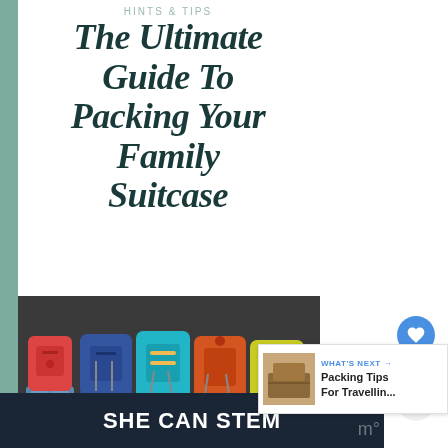HINTS & TIPS
The Ultimate Guide To Packing Your Family Suitcase
[Figure (photo): Five colorful suitcases lined up side by side, each with a matching backpack on top: red, blue, teal/light blue, orange/red, and yellow-green. Photo taken in front of a dark gray wall.]
WHAT'S NEXT → Packing Tips For Travellin...
SHE CAN STEM